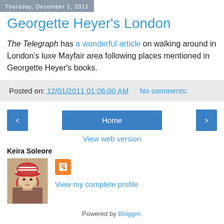Thursday, December 1, 2011
Georgette Heyer's London
The Telegraph has a wonderful article on walking around in London's luxe Mayfair area following places mentioned in Georgette Heyer's books.
Posted on: 12/01/2011 01:06:00 AM   No comments:
Home
View web version
Keira Soleore
[Figure (illustration): Portrait illustration of a woman wearing a red and white striped bonnet, vintage style]
View my complete profile
Powered by Blogger.